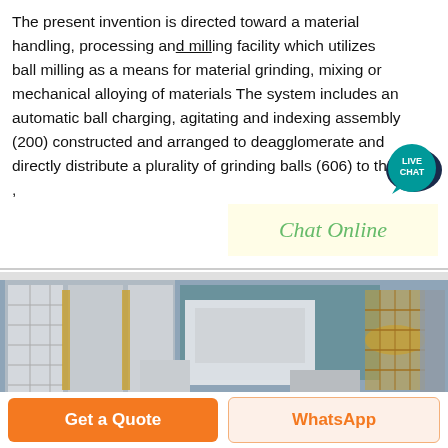The present invention is directed toward a material handling, processing and milling facility which utilizes ball milling as a means for material grinding, mixing or mechanical alloying of materials The system includes an automatic ball charging, agitating and indexing assembly (200) constructed and arranged to deagglomerate and directly distribute a plurality of grinding balls (606) to the ,
[Figure (illustration): Live chat icon/badge — teal speech bubble with 'LIVE CHAT' text in white]
[Figure (photo): Industrial 3D rendering or photograph of a ball milling / material handling facility showing structural framework, machinery, and equipment in a factory setting]
Chat Online
Get a Quote
WhatsApp